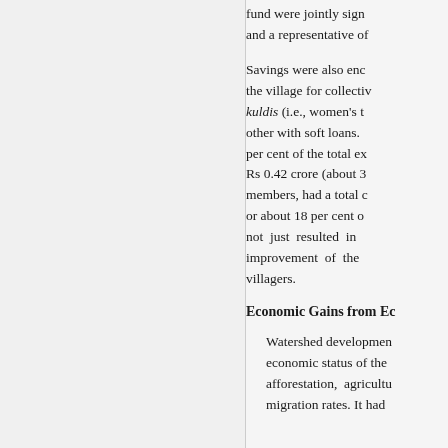fund were jointly signed and a representative of
Savings were also encouraged in the village for collective kuldis (i.e., women's t other with soft loans. per cent of the total ex Rs 0.42 crore (about 3 members, had a total or about 18 per cent o not just resulted in improvement of the villagers.
Economic Gains from Ec
Watershed development economic status of the afforestation, agriculture migration rates. It had